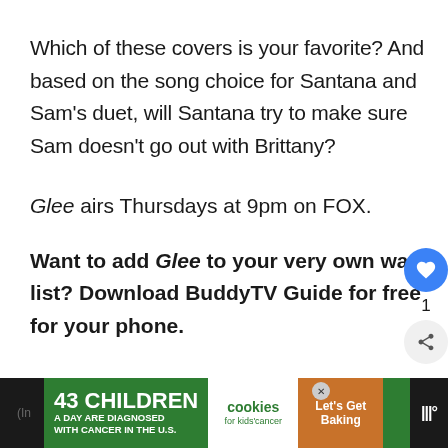Which of these covers is your favorite? And based on the song choice for Santana and Sam's duet, will Santana try to make sure Sam doesn't go out with Brittany?
Glee airs Thursdays at 9pm on FOX.
Want to add Glee to your very own watch list? Download BuddyTV Guide for free for your phone.
[Figure (infographic): Advertisement banner: 43 Children A Day Are Diagnosed With Cancer in the U.S. / cookies for kids cancer / Let's Get Baking]